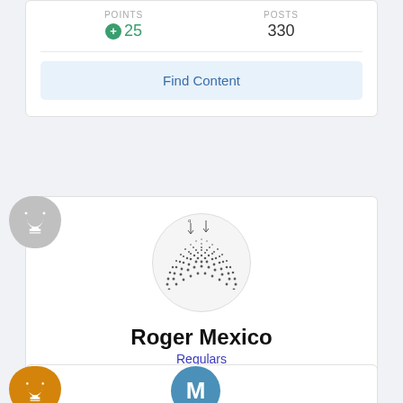POINTS
POSTS
25
330
Find Content
[Figure (illustration): User avatar showing a dotted/stippled hemisphere shape with arrows pointing down, representing a profile image]
Roger Mexico
Regulars
POINTS
POSTS
19
11,240
Find Content